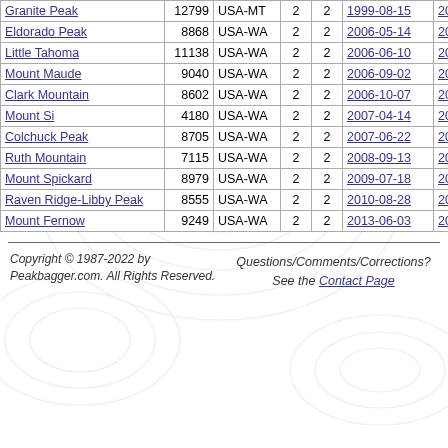| Name | Elev | Region |  |  | Date1 | Date2 |
| --- | --- | --- | --- | --- | --- | --- |
| Granite Peak | 12799 | USA-MT | 2 | 2 | 1999-08-15 | 2011-... |
| Eldorado Peak | 8868 | USA-WA | 2 | 2 | 2006-05-14 | 2013-... |
| Little Tahoma | 11138 | USA-WA | 2 | 2 | 2006-06-10 | 2007-... |
| Mount Maude | 9040 | USA-WA | 2 | 2 | 2006-09-02 | 2009-... |
| Clark Mountain | 8602 | USA-WA | 2 | 2 | 2006-10-07 | 2012-... |
| Mount Si | 4180 | USA-WA | 2 | 2 | 2007-04-14 | 2009-... |
| Colchuck Peak | 8705 | USA-WA | 2 | 2 | 2007-06-22 | 2009-... |
| Ruth Mountain | 7115 | USA-WA | 2 | 2 | 2008-09-13 | 2015-... |
| Mount Spickard | 8979 | USA-WA | 2 | 2 | 2009-07-18 | 2013-... |
| Raven Ridge-Libby Peak | 8555 | USA-WA | 2 | 2 | 2010-08-28 | 2010-... |
| Mount Fernow | 9249 | USA-WA | 2 | 2 | 2013-06-03 | 2015-... |
Copyright © 1987-2022 by Peakbagger.com. All Rights Reserved. Questions/Comments/Corrections? See the Contact Page